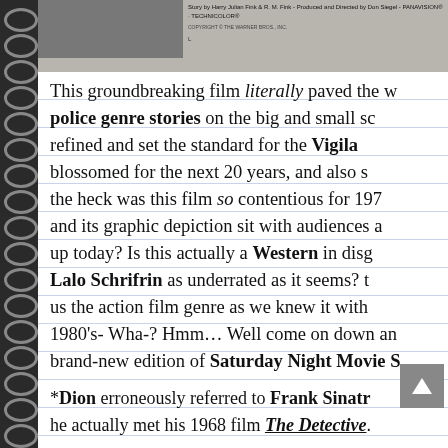[Figure (photo): Top portion of a movie poster/credits page showing text 'Story by Harry Julian Fink & R. M. Fink - Produced and Directed by Don Siegel - PANAVISION - TECHNICOLOR' with a gray image panel on the left and copyright information below.]
This groundbreaking film literally paved the way for police genre stories on the big and small sc... refined and set the standard for the Vigilante... blossomed for the next 20 years, and also s... the heck was this film so contentious for 197... and its graphic depiction sit with audiences a... up today? Is this actually a Western in disg... Lalo Schrifrin as underrated as it seems? t... us the action film genre as we knew it with... 1980's- Wha-? Hmm... Well come on down and... brand-new edition of Saturday Night Movie S...
*Dion erroneously referred to Frank Sinatr... he actually met his 1968 film The Detective.
(Check out the 1971 San Francisco premiere...